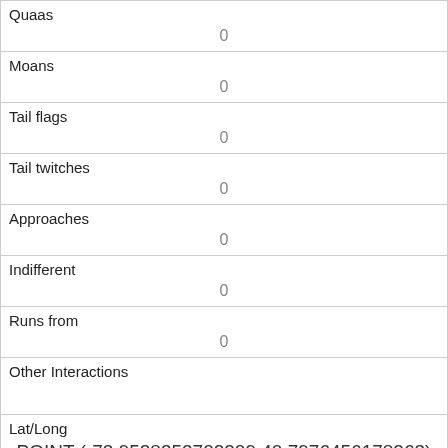| Quaas | 0 |
| Moans | 0 |
| Tail flags | 0 |
| Tail twitches | 0 |
| Approaches | 0 |
| Indifferent | 0 |
| Runs from | 0 |
| Other Interactions |  |
| Lat/Long | POINT (-73.9528353702209 40.7976456178263) |
| Link | 2708 |